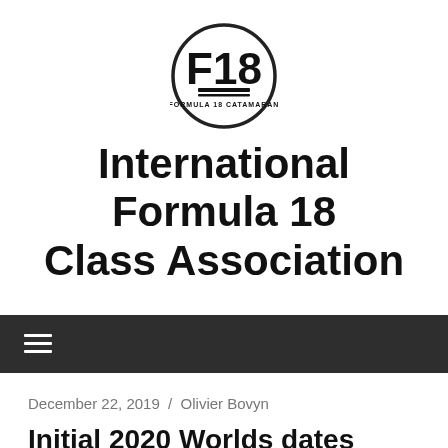[Figure (logo): F18 Formula 18 Catamaran circular logo with bold F18 text and horizontal lines beneath]
International Formula 18 Class Association
≡
December 22, 2019 / Olivier Bovyn
Initial 2020 Worlds dates confirmed